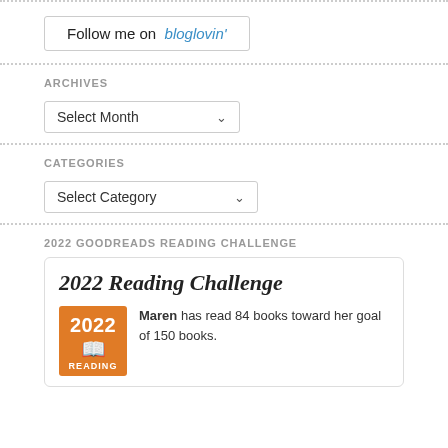[Figure (logo): Follow me on bloglovin' button/badge with bordered rectangle, black text 'Follow me on' and blue italic 'bloglovin\'']
ARCHIVES
[Figure (screenshot): Select Month dropdown selector]
CATEGORIES
[Figure (screenshot): Select Category dropdown selector]
2022 GOODREADS READING CHALLENGE
[Figure (infographic): 2022 Reading Challenge card: '2022 Reading Challenge' title, orange 2022 badge with book icon, text 'Maren has read 84 books toward her goal of 150 books.' and '84 of 150' progress bar]